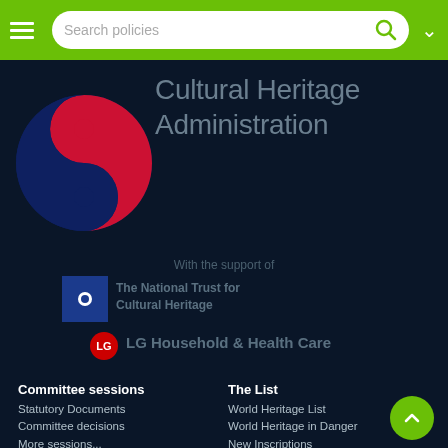[Figure (screenshot): Website header of a government website with green navigation bar containing hamburger menu, search bar with 'Search policies' placeholder, search icon, and dropdown arrow.]
Cultural Heritage Administration
[Figure (logo): Korean yin-yang style circular logo in dark blue and red for Cultural Heritage Administration]
With the support of
[Figure (logo): The National Trust for Cultural Heritage logo - blue square with white dot]
The National Trust for Cultural Heritage
[Figure (logo): LG Household & Health Care logo]
LG Household & Health Care
Committee sessions
Statutory Documents
Committee decisions
More sessions...
45th session (postponed)
44th session (2021)
15th Extraordinary session (2021)
43rd session (2019)
The List
World Heritage List
World Heritage in Danger
New Inscriptions
Criteria for Selection
Tentative Lists
World Heritage List Nominations